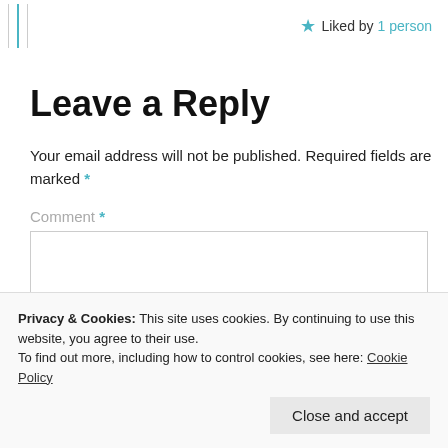Liked by 1 person
Leave a Reply
Your email address will not be published. Required fields are marked *
Comment *
Privacy & Cookies: This site uses cookies. By continuing to use this website, you agree to their use.
To find out more, including how to control cookies, see here: Cookie Policy
Close and accept